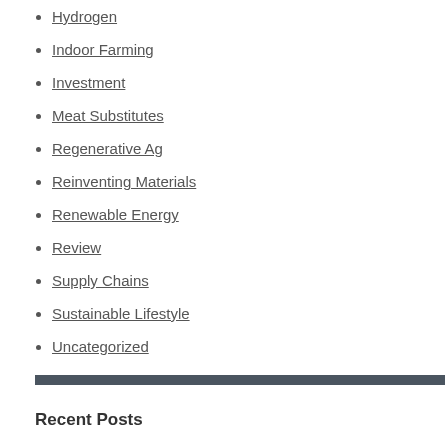Hydrogen
Indoor Farming
Investment
Meat Substitutes
Regenerative Ag
Reinventing Materials
Renewable Energy
Review
Supply Chains
Sustainable Lifestyle
Uncategorized
Recent Posts